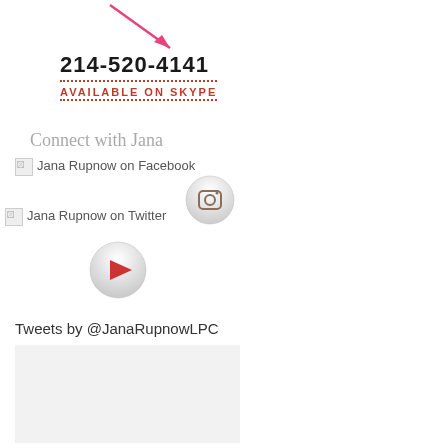[Figure (illustration): Pink/magenta diagonal arrow pointing down-right toward the phone number]
214-520-4141
AVAILABLE ON SKYPE
Connect with Jana
Jana Rupnow on Facebook
[Figure (illustration): Instagram icon button - circular grey button with camera icon]
Jana Rupnow on Twitter
[Figure (illustration): YouTube play button - circular grey button with red play triangle]
Tweets by @JanaRupnowLPC
[Figure (screenshot): Embedded Twitter/tweet widget area with light grey background, mostly empty]